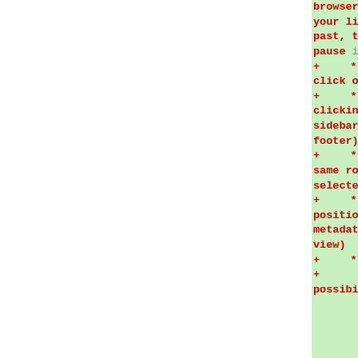browser and moder
your living in th
past, there's an
pause it ;-)
+ * Toggle sideb
click of a mouse
+ * Toggle 'full
clicking CTRL+SHI
sidebars and NAVs
footer)
+ * Mark nodes l
same room or loca
selected node.
+ * Fix or unfix
positions. (this
metadata that is
view)
+ * Views
+ * User speci
possibility to sh